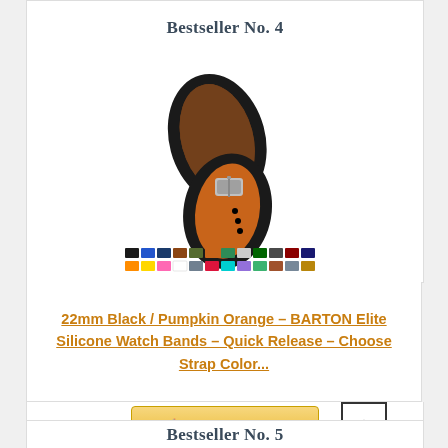Bestseller No. 4
[Figure (photo): A two-tone (black/pumpkin orange) silicone watch band with silver buckle, shown open with a row of color swatch variants below.]
22mm Black / Pumpkin Orange – BARTON Elite Silicone Watch Bands – Quick Release – Choose Strap Color...
Buy on Amazon
Bestseller No. 5